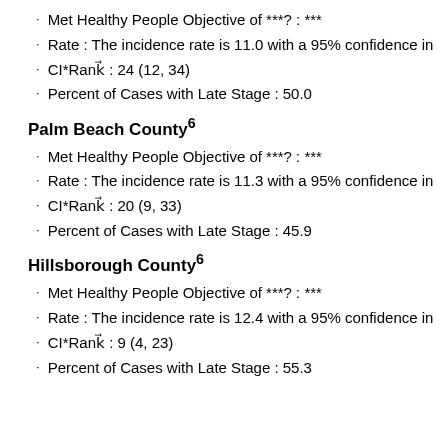Met Healthy People Objective of ***? : ***
Rate : The incidence rate is 11.0 with a 95% confidence in
CI*Rank⋔ : 24 (12, 34)
Percent of Cases with Late Stage : 50.0
Palm Beach County⁶
Met Healthy People Objective of ***? : ***
Rate : The incidence rate is 11.3 with a 95% confidence in
CI*Rank⋔ : 20 (9, 33)
Percent of Cases with Late Stage : 45.9
Hillsborough County⁶
Met Healthy People Objective of ***? : ***
Rate : The incidence rate is 12.4 with a 95% confidence in
CI*Rank⋔ : 9 (4, 23)
Percent of Cases with Late Stage : 55.3